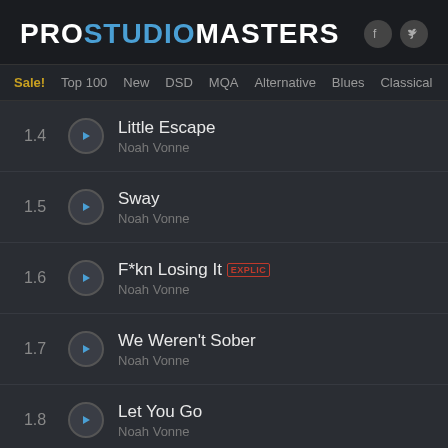PROSTUDIOMASTERS
Sale! | Top 100 | New | DSD | MQA | Alternative | Blues | Classical | Country | Electu
1.4 Little Escape - Noah Vonne
1.5 Sway - Noah Vonne
1.6 F*kn Losing It [EXPLICIT] - Noah Vonne
1.7 We Weren't Sober - Noah Vonne
1.8 Let You Go - Noah Vonne
1.9 What If We Had Aus - Noah Vonne
1.10 Heart Of It